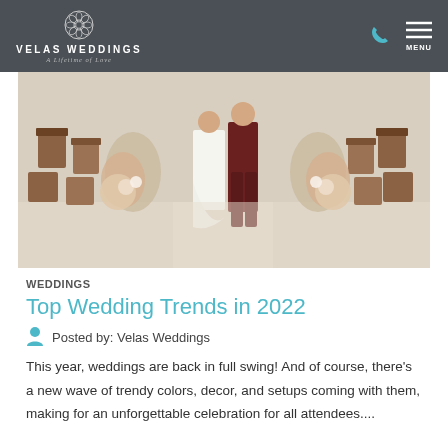VELAS WEDDINGS — A Lifetime of Love
[Figure (photo): Wedding ceremony outdoor aisle with bride in white dress and groom in dark red suit walking together, flanked by wooden chairs and floral arrangements with pampas grass on sandy ground.]
WEDDINGS
Top Wedding Trends in 2022
Posted by: Velas Weddings
This year, weddings are back in full swing! And of course, there's a new wave of trendy colors, decor, and setups coming with them, making for an unforgettable celebration for all attendees....